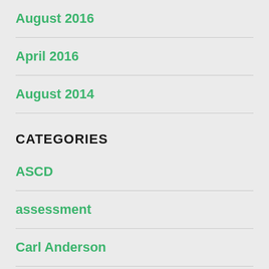August 2016
April 2016
August 2014
CATEGORIES
ASCD
assessment
Carl Anderson
coaching
differentiation